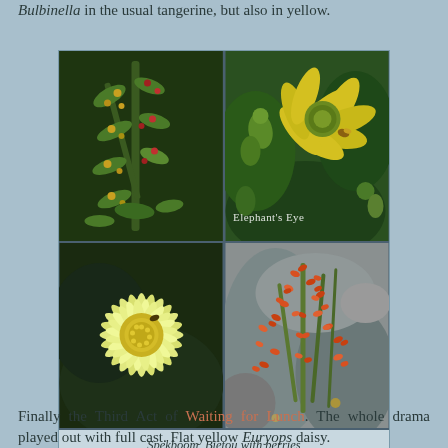Bulbinella in the usual tangerine, but also in yellow.
[Figure (photo): A 2x2 grid of plant photographs: top-left shows Spekboom (small green and red plant), top-right shows Bietou with yellow flowers and berries with text 'Elephant's Eye' overlay, bottom-left shows a large yellow Lampranthus daisy, bottom-right shows Bulbinella with orange-red flowers.]
Spekboom, Bietou with berries
Lampranthus, Bulbinella
Finally the Third Act of Waiting for Lunch. The whole drama played out with full cast. Flat yellow Euryops daisy.